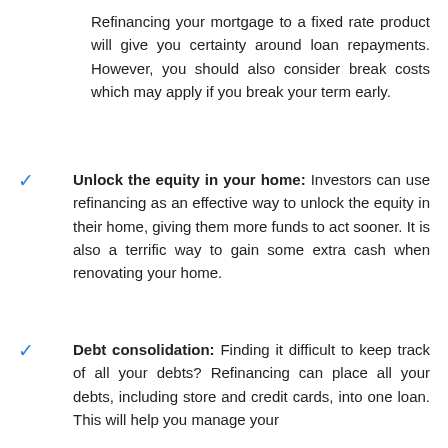Refinancing your mortgage to a fixed rate product will give you certainty around loan repayments. However, you should also consider break costs which may apply if you break your term early.
Unlock the equity in your home: Investors can use refinancing as an effective way to unlock the equity in their home, giving them more funds to act sooner. It is also a terrific way to gain some extra cash when renovating your home.
Debt consolidation: Finding it difficult to keep track of all your debts? Refinancing can place all your debts, including store and credit cards, into one loan. This will help you manage your